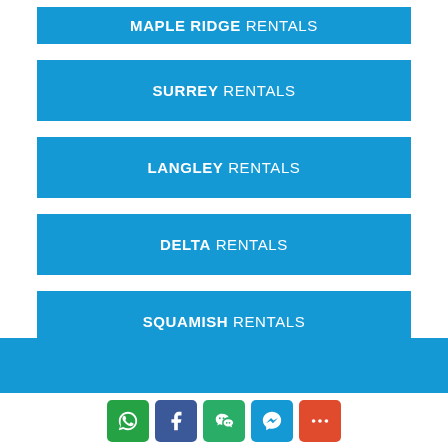MAPLE RIDGE RENTALS
SURREY RENTALS
LANGLEY RENTALS
DELTA RENTALS
SQUAMISH RENTALS
[Figure (infographic): Social media share buttons: WhatsApp, Facebook, WeChat, Messenger, More]